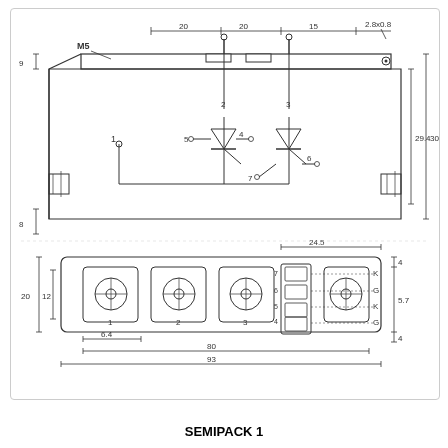[Figure (engineering-diagram): SEMIPACK 1 power module engineering drawing showing top/side view and bottom view with dimensions. Top view shows module outline with M5 mounting hole, terminals labeled 1-7, and internal circuit schematic with thyristors. Dimensions include 20, 20, 15, 2.8x0.8, 9, 29.4, 30, 8. Bottom view shows 5 mounting pads labeled 1-3 and connector pins 4,5,6,7 with K and G labels. Dimensions include 24.5, 4, 5.7, 20, 12, 6.4, 80, 93.]
SEMIPACK 1